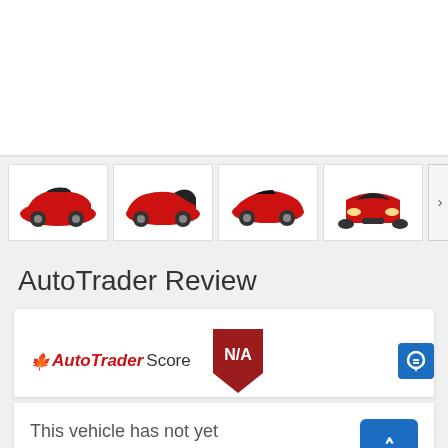[Figure (photo): Main large image area of a red Corvette sports car (white background, mostly blank in this view)]
[Figure (photo): Row of four car thumbnail images showing a red Chevrolet Corvette from different angles: front-side, rear-side, open-top side, and front view. Navigation arrow on right.]
AutoTrader Review
[Figure (infographic): AutoTrader Score badge showing N/A in a red shield, with a chat icon button (blue square) on right]
This vehicle has not yet been reviewed